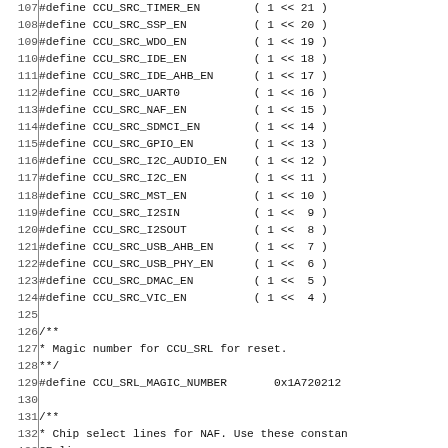Code listing lines 107-136, C header file with #define macros for CCU source enable bits and related constants
107  #define CCU_SRC_TIMER_EN        ( 1 << 21 )
108  #define CCU_SRC_SSP_EN          ( 1 << 20 )
109  #define CCU_SRC_WDO_EN          ( 1 << 19 )
110  #define CCU_SRC_IDE_EN          ( 1 << 18 )
111  #define CCU_SRC_IDE_AHB_EN      ( 1 << 17 )
112  #define CCU_SRC_UART0           ( 1 << 16 )
113  #define CCU_SRC_NAF_EN          ( 1 << 15 )
114  #define CCU_SRC_SDMCI_EN        ( 1 << 14 )
115  #define CCU_SRC_GPIO_EN         ( 1 << 13 )
116  #define CCU_SRC_I2C_AUDIO_EN    ( 1 << 12 )
117  #define CCU_SRC_I2C_EN          ( 1 << 11 )
118  #define CCU_SRC_MST_EN          ( 1 << 10 )
119  #define CCU_SRC_I2SIN           ( 1 <<  9 )
120  #define CCU_SRC_I2SOUT          ( 1 <<  8 )
121  #define CCU_SRC_USB_AHB_EN      ( 1 <<  7 )
122  #define CCU_SRC_USB_PHY_EN      ( 1 <<  6 )
123  #define CCU_SRC_DMAC_EN         ( 1 <<  5 )
124  #define CCU_SRC_VIC_EN          ( 1 <<  4 )
125  (blank)
126  /**
127  * Magic number for CCU_SRL for reset.
128  **/
129  #define CCU_SRL_MAGIC_NUMBER       0x1A720212
130  (blank)
131  /**
132  * Chip select lines for NAF. Use these constan
133  CE lines
134  * for NAND flashes in Register CCU_IO.
135  **/
136  #define CCU_IO_NAF_CE_LINE_0      ( 0 << 7 )